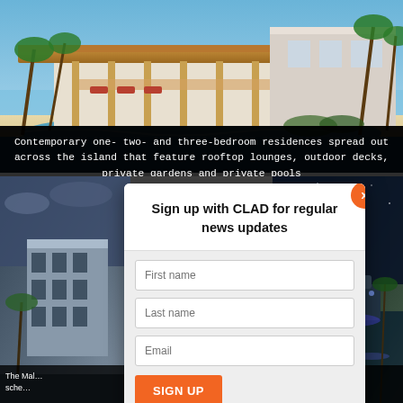[Figure (photo): Architectural rendering of a contemporary beachside residence with flat overhanging roof, wooden columns, palm trees, ocean in background]
Contemporary one- two- and three-bedroom residences spread out across the island that feature rooftop lounges, outdoor decks, private gardens and private pools
[Figure (screenshot): Bottom section showing two architectural/travel photos side by side with a newsletter sign-up modal overlaid in the center. Left photo shows a modern building. Right photo shows a nighttime resort scene. Modal reads: Sign up with CLAD for regular news updates, with First name, Last name, Email fields and SIGN UP button. Orange X close button top right of modal.]
Sign up with CLAD for regular news updates
The Mal… sche…
…liaja 'in a h Beach pulse'